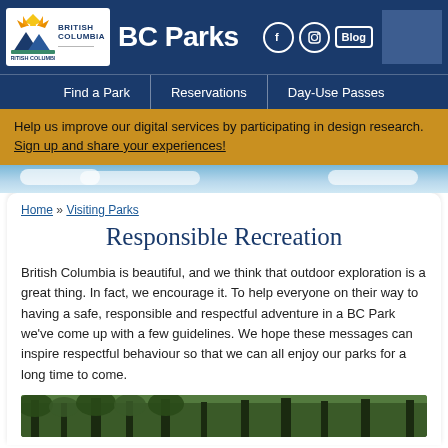British Columbia BC Parks | Find a Park | Reservations | Day-Use Passes
Help us improve our digital services by participating in design research. Sign up and share your experiences!
Home » Visiting Parks
Responsible Recreation
British Columbia is beautiful, and we think that outdoor exploration is a great thing. In fact, we encourage it. To help everyone on their way to having a safe, responsible and respectful adventure in a BC Park we've come up with a few guidelines. We hope these messages can inspire respectful behaviour so that we can all enjoy our parks for a long time to come.
[Figure (photo): Forest scene with tall trees, partially visible at bottom of page]